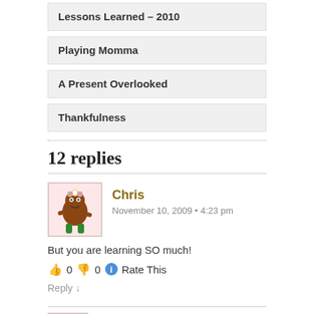Lessons Learned – 2010
Playing Momma
A Present Overlooked
Thankfulness
12 replies
Chris
November 10, 2009 • 4:23 pm
But you are learning SO much!
👍 0 👎 0 ℹ Rate This
Reply ↓
So Who Is The Crayon Wrangler?